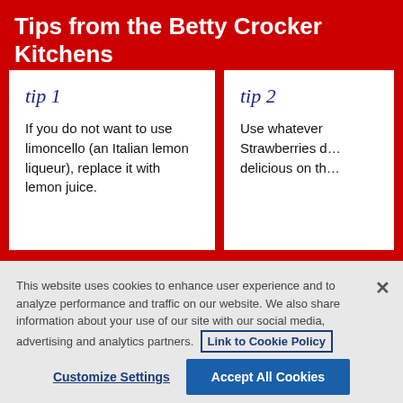Tips from the Betty Crocker Kitchens
tip 1
If you do not want to use limoncello (an Italian lemon liqueur), replace it with lemon juice.
tip 2
Use whatever Strawberries delicious on th...
This website uses cookies to enhance user experience and to analyze performance and traffic on our website. We also share information about your use of our site with our social media, advertising and analytics partners. Link to Cookie Policy
Customize Settings
Accept All Cookies